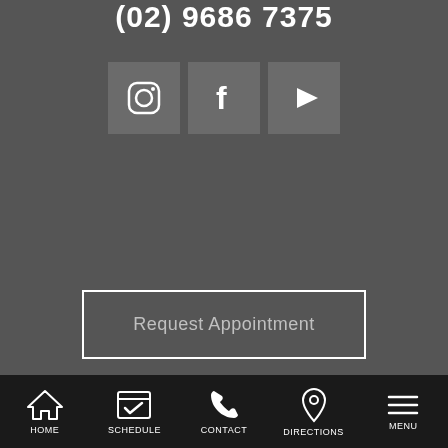(02) 9686 7375
[Figure (infographic): Three social media icon buttons: Instagram, Facebook, YouTube]
Request Appointment
HOME | SCHEDULE | CONTACT | DIRECTIONS | MENU